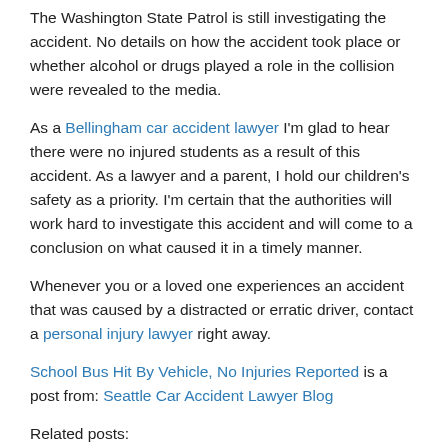The Washington State Patrol is still investigating the accident. No details on how the accident took place or whether alcohol or drugs played a role in the collision were revealed to the media.
As a Bellingham car accident lawyer I'm glad to hear there were no injured students as a result of this accident. As a lawyer and a parent, I hold our children's safety as a priority. I'm certain that the authorities will work hard to investigate this accident and will come to a conclusion on what caused it in a timely manner.
Whenever you or a loved one experiences an accident that was caused by a distracted or erratic driver, contact a personal injury lawyer right away.
School Bus Hit By Vehicle, No Injuries Reported is a post from: Seattle Car Accident Lawyer Blog
Related posts:
Boy Is Struck By Car, Minor Injuries Reported